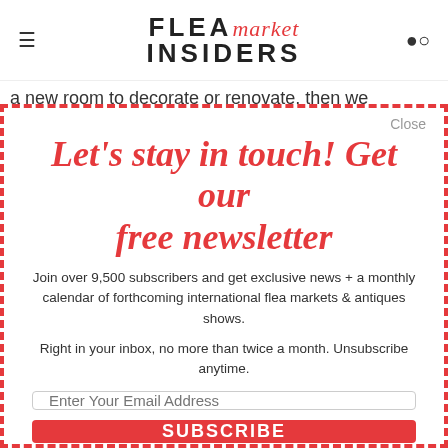FLEA market INSIDERS
a new room to decorate or renovate, then we
Let's stay in touch! Get our free newsletter
Join over 9,500 subscribers and get exclusive news + a monthly calendar of forthcoming international flea markets & antiques shows.
Right in your inbox, no more than twice a month. Unsubscribe anytime.